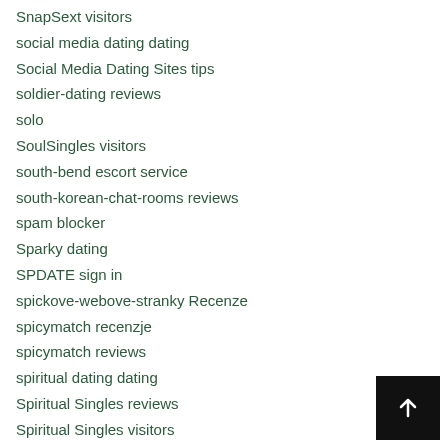SnapSext visitors
social media dating dating
Social Media Dating Sites tips
soldier-dating reviews
solo
SoulSingles visitors
south-bend escort service
south-korean-chat-rooms reviews
spam blocker
Sparky dating
SPDATE sign in
spickove-webove-stranky Recenze
spicymatch recenzje
spicymatch reviews
spiritual dating dating
Spiritual Singles reviews
Spiritual Singles visitors
spirituelle-dating-sites kosten
sport-dating-sites kosten